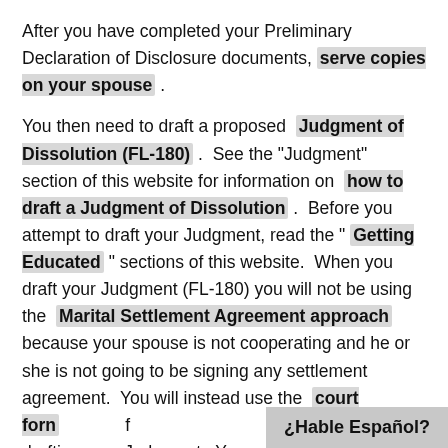After you have completed your Preliminary Declaration of Disclosure documents, serve copies on your spouse .
You then need to draft a proposed Judgment of Dissolution (FL-180) . See the "Judgment" section of this website for information on how to draft a Judgment of Dissolution . Before you attempt to draft your Judgment, read the " Getting Educated " sections of this website. When you draft your Judgment (FL-180) you will not be using the Marital Settlement Agreement approach because your spouse is not cooperating and he or she is not going to be signing any settlement agreement. You will instead use the court form for drafting your Judgment. You w...
¿Hable Español?